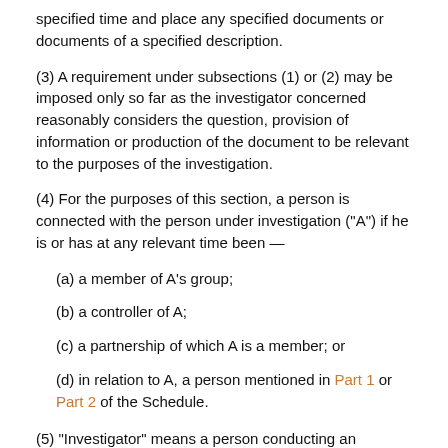specified time and place any specified documents or documents of a specified description.
(3) A requirement under subsections (1) or (2) may be imposed only so far as the investigator concerned reasonably considers the question, provision of information or production of the document to be relevant to the purposes of the investigation.
(4) For the purposes of this section, a person is connected with the person under investigation ("A") if he is or has at any relevant time been —
(a) a member of A's group;
(b) a controller of A;
(c) a partnership of which A is a member; or
(d) in relation to A, a person mentioned in Part 1 or Part 2 of the Schedule.
(5) "Investigator" means a person conducting an investigation under section 98...